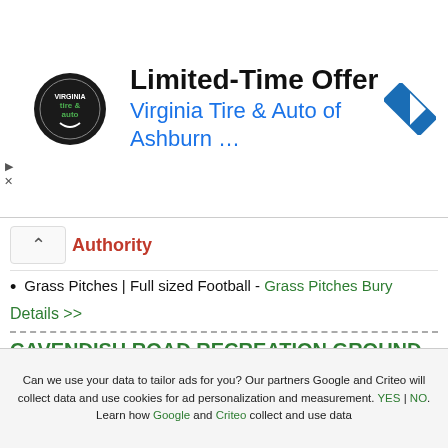[Figure (other): Advertisement banner for Virginia Tire & Auto of Ashburn with logo, title 'Limited-Time Offer', and navigation icon]
Authority
Grass Pitches | Full sized Football - Grass Pitches Bury
Details >>
CAVENDISH ROAD RECREATION GROUND
Holmfield Road Blackpool FY2 9LJ
Local Authority
Tennis Courts | Tennis Courts - Tennis Courts Blackpool
Tennis Courts | Tennis Courts - Tennis Courts Blackpool
Can we use your data to tailor ads for you? Our partners Google and Criteo will collect data and use cookies for ad personalization and measurement. YES | NO. Learn how Google and Criteo collect and use data